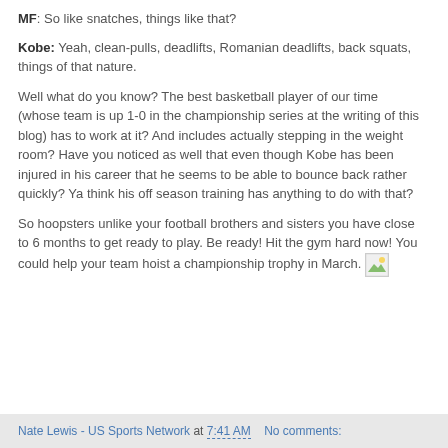MF: So like snatches, things like that?
Kobe: Yeah, clean-pulls, deadlifts, Romanian deadlifts, back squats, things of that nature.
Well what do you know? The best basketball player of our time (whose team is up 1-0 in the championship series at the writing of this blog) has to work at it? And includes actually stepping in the weight room? Have you noticed as well that even though Kobe has been injured in his career that he seems to be able to bounce back rather quickly? Ya think his off season training has anything to do with that?
So hoopsters unlike your football brothers and sisters you have close to 6 months to get ready to play. Be ready! Hit the gym hard now! You could help your team hoist a championship trophy in March.
Nate Lewis - US Sports Network at 7:41 AM   No comments: